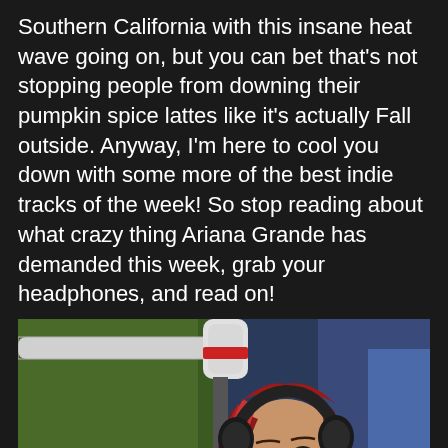Southern California with this insane heat wave going on, but you can bet that’s not stopping people from downing their pumpkin spice lattes like it's actually Fall outside. Anyway, I’m here to cool you down with some more of the best indie tracks of the week! So stop reading about what crazy thing Ariana Grande has demanded this week, grab your headphones, and read on!
[Figure (photo): Photo of a young woman with long red hair wearing black headphones, seated at a radio studio microphone. The microphone stand has a cube-shaped logo reading 'GOOM GOOM'. The Goom Radio logo appears at the bottom left with text 'THE EVOLUTION OF RADIO'. Watermark 'TINYARL' on the right side.]